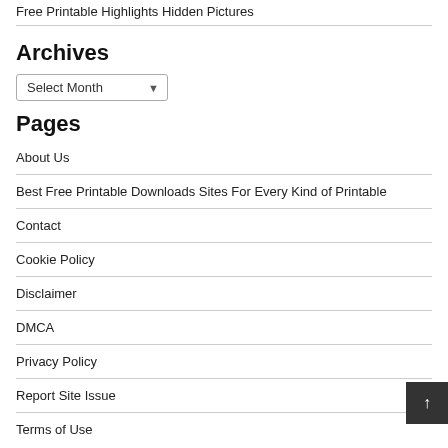Free Printable Highlights Hidden Pictures
Archives
Select Month
Pages
About Us
Best Free Printable Downloads Sites For Every Kind of Printable
Contact
Cookie Policy
Disclaimer
DMCA
Privacy Policy
Report Site Issue
Terms of Use